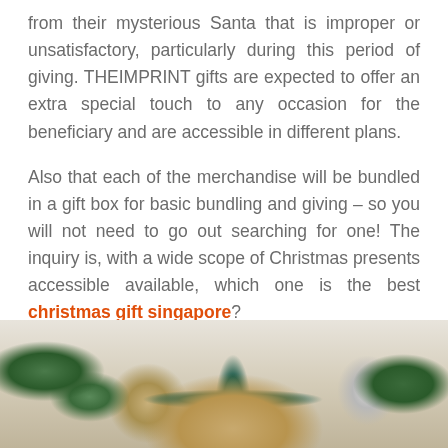from their mysterious Santa that is improper or unsatisfactory, particularly during this period of giving. THEIMPRINT gifts are expected to offer an extra special touch to any occasion for the beneficiary and are accessible in different plans.
Also that each of the merchandise will be bundled in a gift box for basic bundling and giving – so you will not need to go out searching for one! The inquiry is, with a wide scope of Christmas presents accessible available, which one is the best christmas gift singapore?
[Figure (photo): Photo of Christmas gift items including wrapped presents with teal ribbon, twine, greenery/leaves, and a small jar arranged on a white surface.]